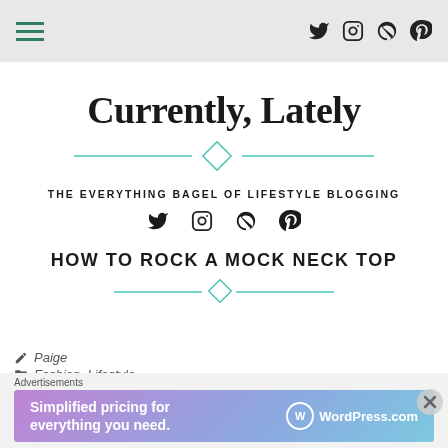Navigation bar with hamburger menu and social icons (Twitter, Instagram, RSS-like, Pinterest)
Currently, Lately
THE EVERYTHING BAGEL OF LIFESTYLE BLOGGING
[Figure (other): Social media icons row: Twitter, Instagram, RSS/circle, Pinterest]
HOW TO ROCK A MOCK NECK TOP
Paige
Fashion, Lifestyle
Beauty, blogger, Blogging, create, Fashion, fashionblogger,
[Figure (other): WordPress.com advertisement banner: Simplified pricing for everything you need.]